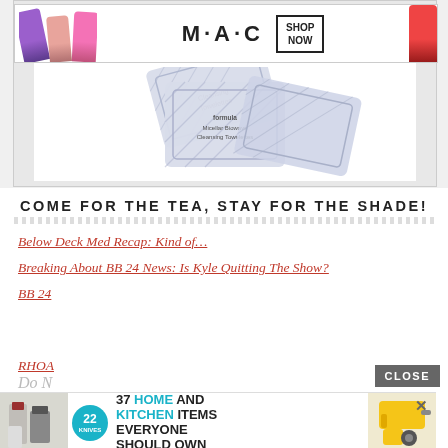[Figure (screenshot): MAC Cosmetics ad banner with colorful lipsticks and SHOP NOW button, above cleansing towelettes product packets on white background]
COME FOR THE TEA, STAY FOR THE SHADE!
Below Deck Med Recap: Kind of…
Breaking About BB 24 News: Is Kyle Quitting The Show?
BB 24
RHOA
Do N
[Figure (screenshot): Advertisement overlay: 22 Knives badge, kitchen/home items image on left, text '37 HOME AND KITCHEN ITEMS EVERYONE SHOULD OWN', tools image on right, X close button]
CLOSE